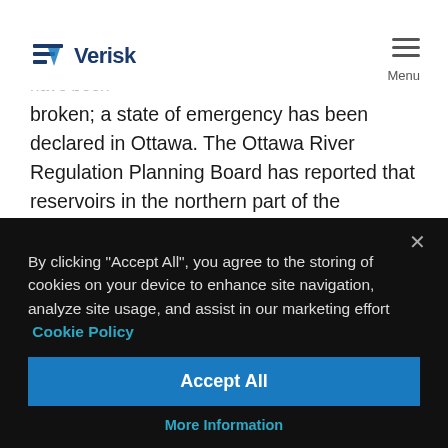River, which has now peaked with levels higher than those in 2017. In some parts of the river such as Lac Coulonge, Arnprior, and Ottawa, records have been
[Figure (logo): Verisk logo — stylized V with horizontal lines forming a chevron/shield icon in blue, followed by 'Verisk' text in dark blue]
broken; a state of emergency has been declared in Ottawa. The Ottawa River Regulation Planning Board has reported that reservoirs in the northern part of the watershed being used to store runoff and minimize flooding downstream, have been filling rapidly. Further rainfall, which the soaked ground has limited capacity to absorb, is expected this week.
By clicking "Accept All", you agree to the storing of cookies on your device to enhance site navigation, analyze site usage, and assist in our marketing effort  Cookie Policy
Accept All
More Information